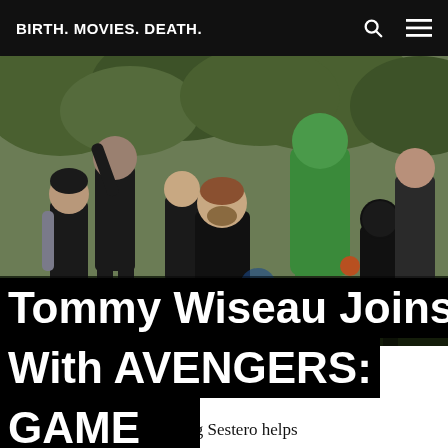BIRTH. MOVIES. DEATH.
[Figure (photo): Scene from Avengers: Infinity War showing multiple Marvel superheroes including Captain America (in dark suit with shield), Bucky Barnes, Black Widow, Hulk, Black Panther, and others running in a forested area.]
Tommy Wiseau Joins The MCU With AVENGERS: FRIEND GAME
And perpetual enabler Greg Sestero helps